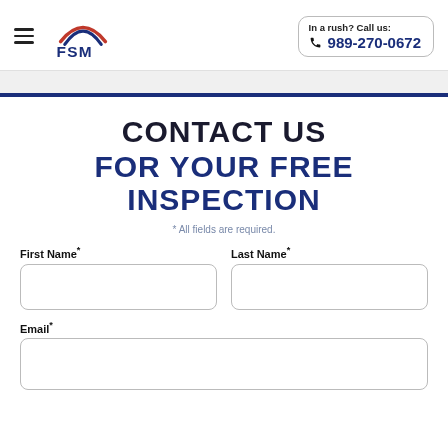FSM logo with hamburger menu | In a rush? Call us: 989-270-0672
CONTACT US FOR YOUR FREE INSPECTION
* All fields are required.
First Name*
Last Name*
Email*